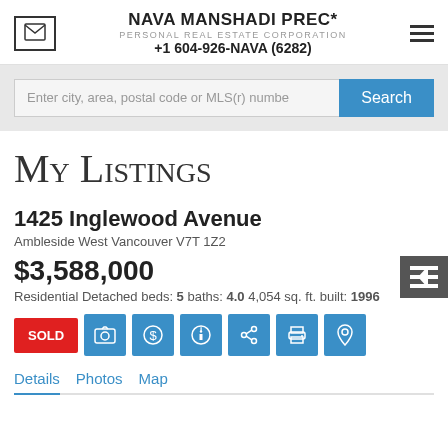NAVA MANSHADI PREC* PERSONAL REAL ESTATE CORPORATION +1 604-926-NAVA (6282)
Enter city, area, postal code or MLS(r) numbe
My Listings
1425 Inglewood Avenue
Ambleside West Vancouver V7T 1Z2
$3,588,000
Residential Detached beds: 5 baths: 4.0 4,054 sq. ft. built: 1996
SOLD
Details Photos Map